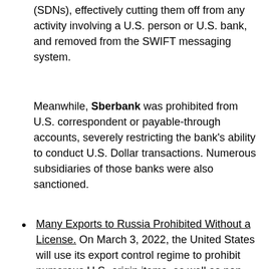(SDNs), effectively cutting them off from any activity involving a U.S. person or U.S. bank, and removed from the SWIFT messaging system.
Meanwhile, Sberbank was prohibited from U.S. correspondent or payable-through accounts, severely restricting the bank's ability to conduct U.S. Dollar transactions. Numerous subsidiaries of those banks were also sanctioned.
Many Exports to Russia Prohibited Without a License. On March 3, 2022, the United States will use its export control regime to prohibit numerous U.S.-origin items, as well as non-U.S. items that are the product of U.S.